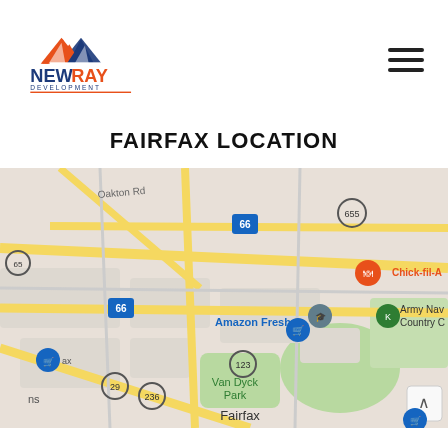[Figure (logo): NewRay Development logo with orange and blue roof/house icon above the text NEWRAY in bold orange and blue, with DEVELOPMENT in smaller blue letters underneath and an orange underline]
FAIRFAX LOCATION
[Figure (map): Google Maps screenshot showing Fairfax, Virginia area with Route 66, Route 655, Route 123, Route 236, Route 29, Oakton Rd, Amazon Fresh, Chick-fil-A, Army Navy Country Club, Van Dyck Park labels visible, and yellow road lines on a light grey street map background]